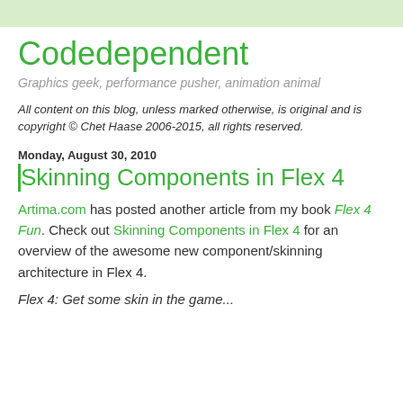Codedependent
Graphics geek, performance pusher, animation animal
All content on this blog, unless marked otherwise, is original and is copyright © Chet Haase 2006-2015, all rights reserved.
Monday, August 30, 2010
Skinning Components in Flex 4
Artima.com has posted another article from my book Flex 4 Fun. Check out Skinning Components in Flex 4 for an overview of the awesome new component/skinning architecture in Flex 4.
Flex 4: Get some skin in the game...